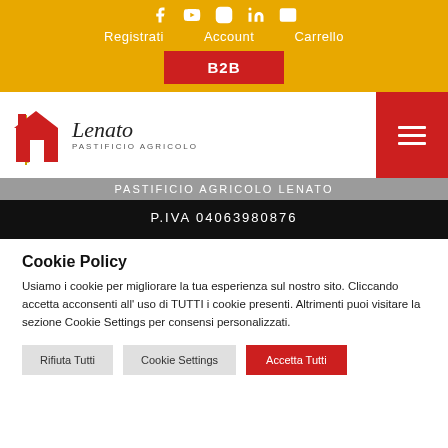[Figure (screenshot): Social media icon bar with Facebook, YouTube, Instagram, LinkedIn, and email icons in white on yellow background]
Registrati   Account   Carrello
B2B
[Figure (logo): Lenato Pastificio Agricolo logo with wheat stalk and house icon in red and yellow, italic script text 'Lenato' with 'Pastificio Agricolo' below]
PASTIFICIO AGRICOLO LENATO
P.IVA 04063980876
Cookie Policy
Usiamo i cookie per migliorare la tua esperienza sul nostro sito. Cliccando accetta acconsenti all' uso di TUTTI i cookie presenti. Altrimenti puoi visitare la sezione Cookie Settings per consensi personalizzati.
Rifiuta Tutti   Cookie Settings   Accetta Tutti